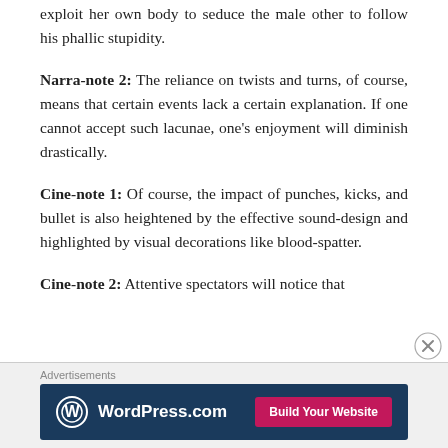exploit her own body to seduce the male other to follow his phallic stupidity.
Narra-note 2: The reliance on twists and turns, of course, means that certain events lack a certain explanation. If one cannot accept such lacunae, one's enjoyment will diminish drastically.
Cine-note 1: Of course, the impact of punches, kicks, and bullet is also heightened by the effective sound-design and highlighted by visual decorations like blood-spatter.
Cine-note 2: Attentive spectators will notice that
[Figure (infographic): WordPress.com advertisement banner with logo and Build Your Website button on dark blue background]